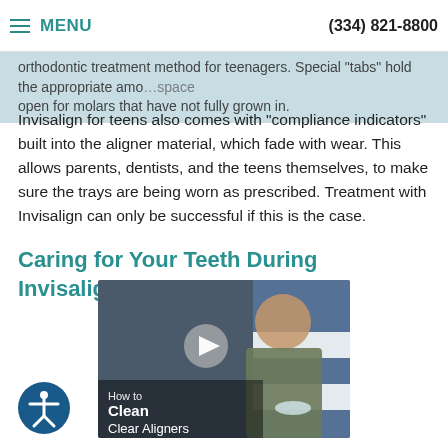MENU | (334) 821-8800
orthodontic treatment method for teenagers. Special "tabs" hold the appropriate amount of space open for molars that have not fully grown in.
Invisalign for teens also comes with "compliance indicators" built into the aligner material, which fade with wear. This allows parents, dentists, and the teens themselves, to make sure the trays are being worn as prescribed. Treatment with Invisalign can only be successful if this is the case.
Caring for Your Teeth During Invisalign Treatment
[Figure (screenshot): Video thumbnail showing a man holding a clear dental aligner, with text overlay: 'How to Clean Clear Aligners' and a play button in center. Background shows blue and white elements.]